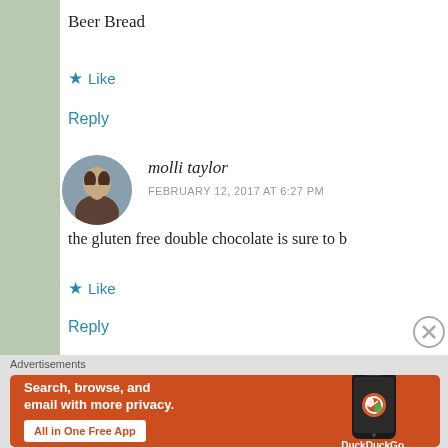Beer Bread
★ Like
Reply
molli taylor
FEBRUARY 12, 2017 AT 6:27 PM
the gluten free double chocolate is sure to b
★ Like
Reply
Advertisements
[Figure (screenshot): DuckDuckGo advertisement banner: 'Search, browse, and email with more privacy. All in One Free App' with phone image and DuckDuckGo logo]